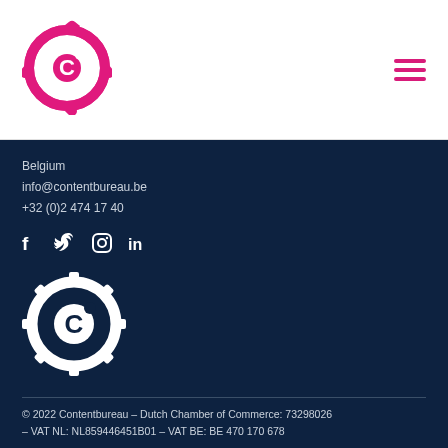[Figure (logo): Pink gear/cog logo with letter C in center - Contentbureau logo]
[Figure (logo): Hamburger menu icon with three pink horizontal lines]
Belgium
info@contentbureau.be
+32 (0)2 474 17 40
[Figure (illustration): Social media icons: f (Facebook), Twitter bird, Instagram camera, in (LinkedIn)]
[Figure (logo): White gear/cog logo with letter C in center - Contentbureau logo (white version)]
© 2022 Contentbureau – Dutch Chamber of Commerce: 73298026 – VAT NL: NL859446451B01 – VAT BE: BE 470 170 678
Privacy statement